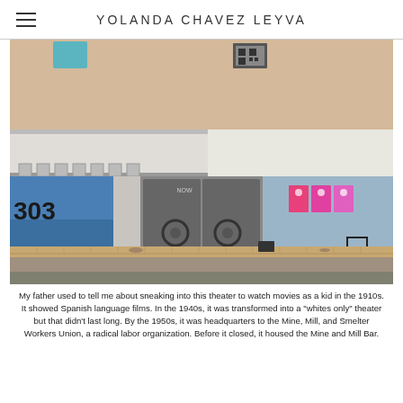YOLANDA CHAVEZ LEYVA
[Figure (photo): Exterior of a run-down building at address 303, showing blue painted walls, a dilapidated marquee/awning, double doors with circular handles, colorful posters on the right wall, and a lone wooden chair on the sidewalk. Brick pavement in the foreground.]
My father used to tell me about sneaking into this theater to watch movies as a kid in the 1910s. It showed Spanish language films. In the 1940s, it was transformed into a "whites only" theater but that didn't last long. By the 1950s, it was headquarters to the Mine, Mill, and Smelter Workers Union, a radical labor organization. Before it closed, it housed the Mine and Mill Bar.